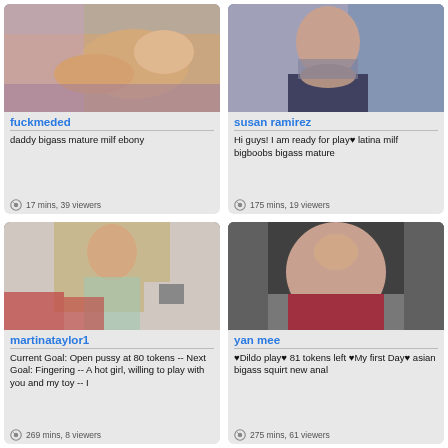[Figure (photo): Photo of a woman lying down]
fuckmeded
daddy bigass mature milf ebony
17 mins, 39 viewers
[Figure (photo): Photo of a woman in a jacket]
susan ramirez
Hi guys! I am ready for play♥ latina milf bigboobs bigass mature
175 mins, 19 viewers
[Figure (photo): Photo of a woman in underwear holding a tablet]
martinataylor1
Current Goal: Open pussy at 80 tokens -- Next Goal: Fingering -- A hot girl, willing to play with you and my toy -- I
269 mins, 8 viewers
[Figure (photo): Photo of a woman in dark top and red underwear]
yan mee
♥Dildo play♥ 81 tokens left ♥My first Day♥ asian bigass squirt new anal
275 mins, 61 viewers